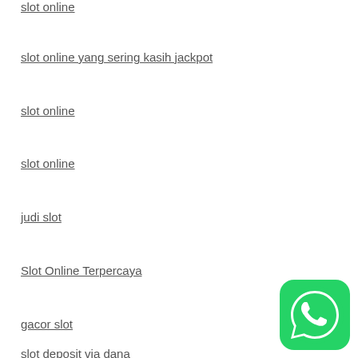slot online
slot online yang sering kasih jackpot
slot online
slot online
judi slot
Slot Online Terpercaya
gacor slot
slot deposit via dana
[Figure (logo): WhatsApp green icon with phone handset symbol]